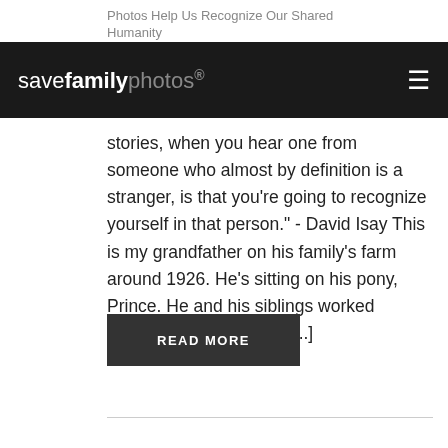Photos Help Us Recognize Our Shared Humanity
[Figure (logo): savefamilyphotos logo in white text on dark nav bar with hamburger menu icon]
stories, when you hear one from someone who almost by definition is a stranger, is that you’re going to recognize yourself in that person.” - David Isay This is my grandfather on his family’s farm around 1926. He’s sitting on his pony, Prince. He and his siblings worked alongside their parents [...]
READ MORE